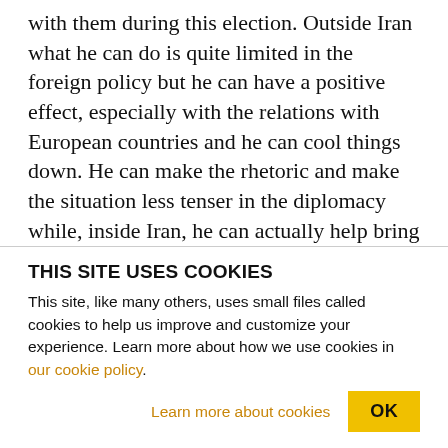with them during this election. Outside Iran what he can do is quite limited in the foreign policy but he can have a positive effect, especially with the relations with European countries and he can cool things down. He can make the rhetoric and make the situation less tenser in the diplomacy while, inside Iran, he can actually help bring about more openness and the growth of civil society in Iran which has been under attack for the past 12 years. AARON MATE: On that point, Rouhani said that he needed a strong mandate to help free the opposition leaders
THIS SITE USES COOKIES
This site, like many others, uses small files called cookies to help us improve and customize your experience. Learn more about how we use cookies in our cookie policy.
Learn more about cookies
OK